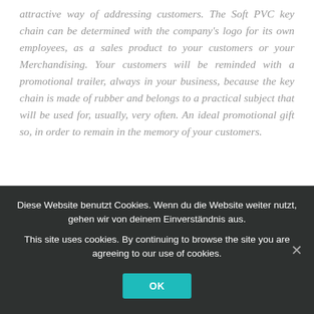attractive way of addressing customers. The Soft PVC key chain can be determined with the company's logo for its own employees, as a sales product to your customers or your Merchandising. Your customers will be reminded with a promotional trailer, always in your business, because the key chain is made of rubber and belongs to a practical subject that will be used for, usually, very often. An ideal promotional gift so, in order to remain in the memory of your customers.
Diese Website benutzt Cookies. Wenn du die Website weiter nutzt, gehen wir von deinem Einverständnis aus.
This site uses cookies. By continuing to browse the site you are agreeing to our use of cookies.
OK